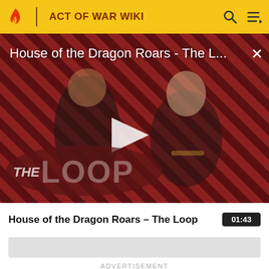ACT OF WAR WIKI
[Figure (screenshot): Video thumbnail for 'House of the Dragon Roars - The Loop' showing two characters from House of the Dragon TV show against a red diagonal stripe background. A play button triangle is visible in the center. The Loop logo appears in the lower left. A close (X) button is in the upper right.]
House of the Dragon Roars - The Loop
01:43
ADVERTISEMENT